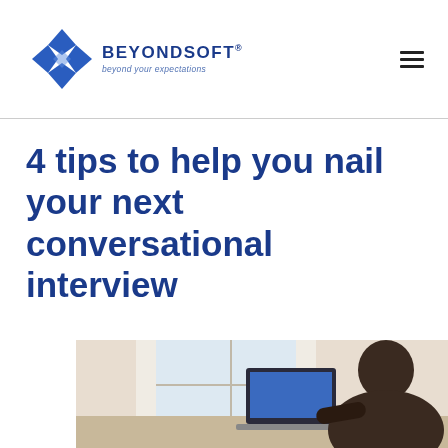BEYONDSOFT® beyond your expectations
4 tips to help you nail your next conversational interview
[Figure (photo): Person sitting at a desk using a laptop computer, viewed from behind/side, near a window. Interview or work-from-home setting.]